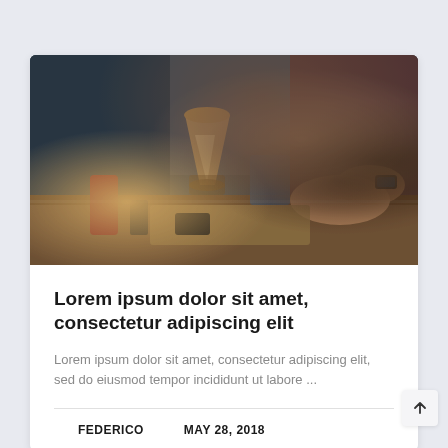[Figure (photo): Coffee shop counter scene with a pour-over coffee filter, a person's hands working with equipment, wooden surface, various barista tools visible]
Lorem ipsum dolor sit amet, consectetur adipiscing elit
Lorem ipsum dolor sit amet, consectetur adipiscing elit, sed do eiusmod tempor incididunt ut labore ...
FEDERICO    MAY 28, 2018